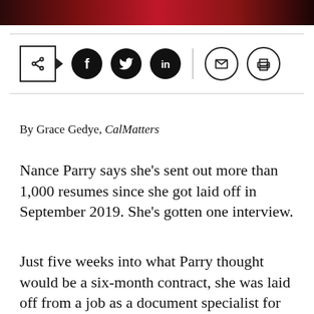[Figure (photo): Top photo strip showing a partial image with red and dark tones]
[Figure (infographic): Social sharing bar with share button, Facebook, Twitter, LinkedIn filled circles and email, print outline circles]
By Grace Gedye, CalMatters
Nance Parry says she’s sent out more than 1,000 resumes since she got laid off in September 2019. She’s gotten one interview.
Just five weeks into what Parry thought would be a six-month contract, she was laid off from a job as a document specialist for an